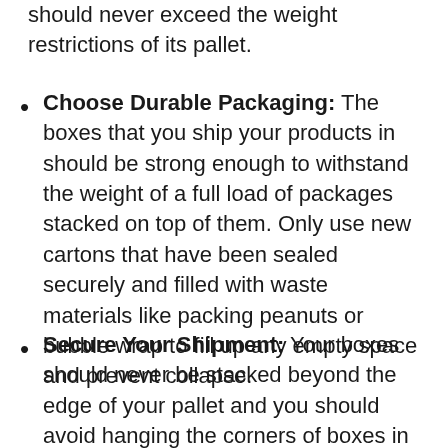should never exceed the weight restrictions of its pallet.
Choose Durable Packaging: The boxes that you ship your products in should be strong enough to withstand the weight of a full load of packages stacked on top of them. Only use new cartons that have been sealed securely and filled with waste materials like packing peanuts or bubble wrap to fill up any empty space and prevent collapse.
Secure Your Shipment: Your boxes should never be stacked beyond the edge of your pallet and you should avoid hanging the corners of boxes in the gaps between your pallet's deck boards. Be sure to keep the